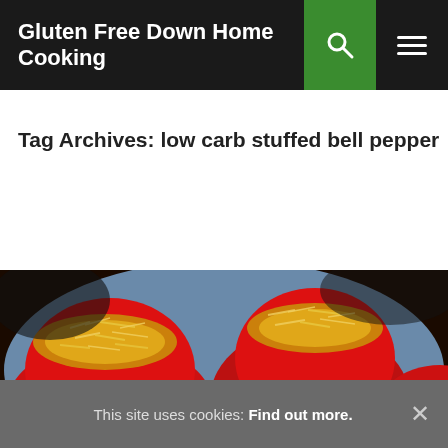Gluten Free Down Home Cooking
Tag Archives: low carb stuffed bell pepper
[Figure (photo): Red bell peppers stuffed with shredded cheese topping, sitting in a blue baking pan, photographed from above at an angle]
This site uses cookies: Find out more.